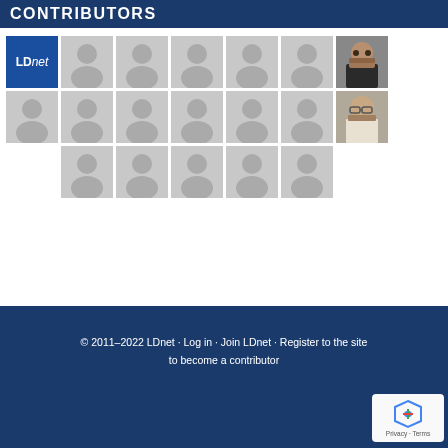CONTRIBUTORS
[Figure (illustration): Grid of contributor avatars: LDnet logo, 5 placeholder silhouettes, 1 photo of bearded man (row 1); 6 placeholder silhouettes, 1 photo of older man with glasses (row 2); 5 placeholder silhouettes (row 3, offset)]
© 2011–2022 LDnet · Log in · Join LDnet · Register to the site to become a contributor